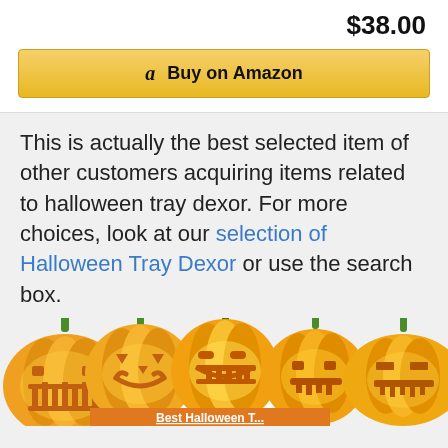$38.00
[Figure (screenshot): Amazon 'Buy on Amazon' button with Amazon logo]
This is actually the best selected item of other customers acquiring items related to halloween tray dexor. For more choices, look at our selection of Halloween Tray Dexor or use the search box.
[Figure (screenshot): Search this website input box with rounded corners]
[Figure (illustration): Row of five jack-o-lantern pumpkin emoji with green stems and glowing carved faces on a light grey background. Partial orange banner at bottom reading 'Best Halloween [something]']